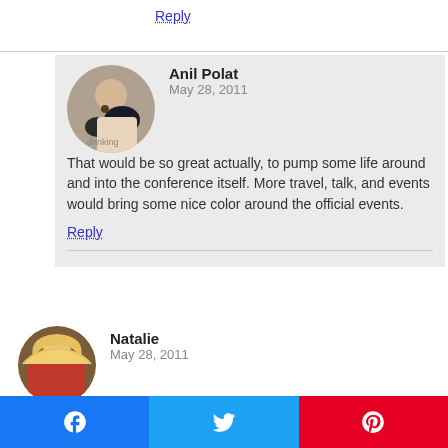Reply
Anil Polat
May 28, 2011
That would be so great actually, to pump some life around and into the conference itself. More travel, talk, and events would bring some nice color around the official events.
Reply
Natalie
May 28, 2011
I won't be there Anil which is a shame as would love to hear your story.
Reply
Anil Polat
May 28, 2011